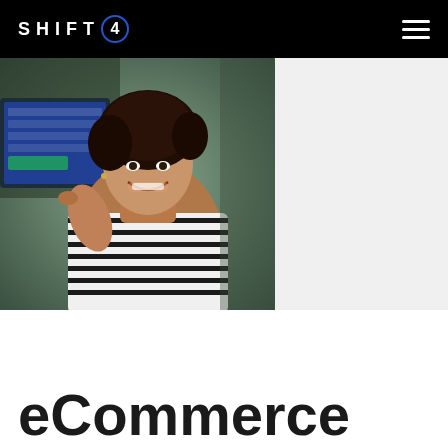SHIFT4 [logo with circle-4] navigation menu
[Figure (photo): Woman smiling and touching a point-of-sale tablet/screen, wearing a striped top, in a retail/restaurant setting]
eCommerce